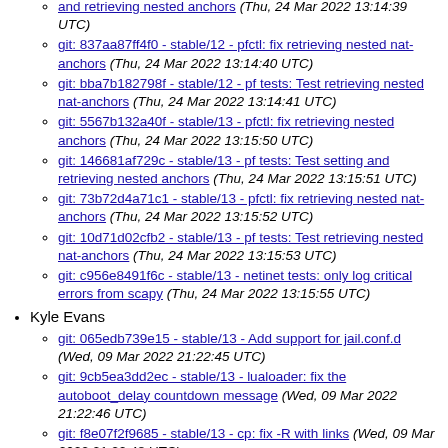git: 837aa87ff4f0 - stable/12 - pfctl: fix retrieving nested nat-anchors (Thu, 24 Mar 2022 13:14:40 UTC)
git: bba7b182798f - stable/12 - pf tests: Test retrieving nested nat-anchors (Thu, 24 Mar 2022 13:14:41 UTC)
git: 5567b132a40f - stable/13 - pfctl: fix retrieving nested anchors (Thu, 24 Mar 2022 13:15:50 UTC)
git: 146681af729c - stable/13 - pf tests: Test setting and retrieving nested anchors (Thu, 24 Mar 2022 13:15:51 UTC)
git: 73b72d4a71c1 - stable/13 - pfctl: fix retrieving nested nat-anchors (Thu, 24 Mar 2022 13:15:52 UTC)
git: 10d71d02cfb2 - stable/13 - pf tests: Test retrieving nested nat-anchors (Thu, 24 Mar 2022 13:15:53 UTC)
git: c956e8491f6c - stable/13 - netinet tests: only log critical errors from scapy (Thu, 24 Mar 2022 13:15:55 UTC)
Kyle Evans
git: 065edb739e15 - stable/13 - Add support for jail.conf.d (Wed, 09 Mar 2022 21:22:45 UTC)
git: 9cb5ea3dd2ec - stable/13 - lualoader: fix the autoboot_delay countdown message (Wed, 09 Mar 2022 21:22:46 UTC)
git: f8e07f2f9685 - stable/13 - cp: fix -R with links (Wed, 09 Mar 2022 21:22:48 UTC)